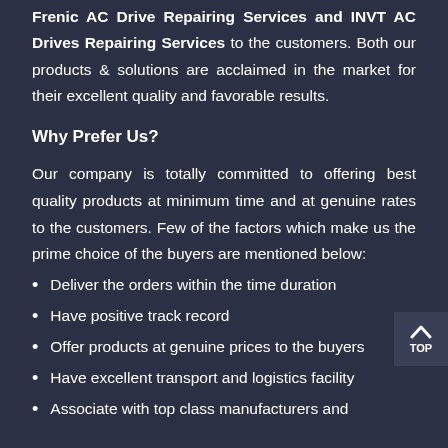Frenic AC Drive Repairing Services and INVT AC Drives Repairing Services to the customers. Both our products & solutions are acclaimed in the market for their excellent quality and favorable results.
Why Prefer Us?
Our company is totally committed to offering best quality products at minimum time and at genuine rates to the customers. Few of the factors which make us the prime choice of the buyers are mentioned below:
Deliver the orders within the time duration
Have positive track record
Offer products at genuine prices to the buyers
Have excellent transport and logistics facility
Associate with top class manufacturers and